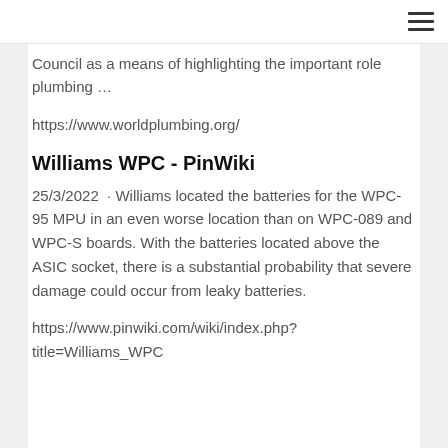≡
Council as a means of highlighting the important role plumbing …
https://www.worldplumbing.org/
Williams WPC - PinWiki
25/3/2022 · Williams located the batteries for the WPC-95 MPU in an even worse location than on WPC-089 and WPC-S boards. With the batteries located above the ASIC socket, there is a substantial probability that severe damage could occur from leaky batteries.
https://www.pinwiki.com/wiki/index.php?title=Williams_WPC